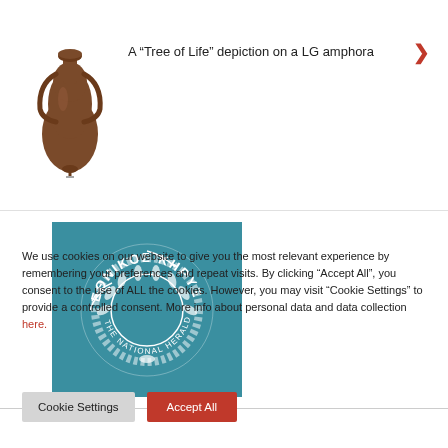[Figure (photo): Brown ceramic amphora (ancient Greek vessel) with two handles, viewed from the front]
A “Tree of Life” depiction on a LG amphora
[Figure (logo): Ethnikos Kiryx / The National Herald logo: white circular wreath text on teal/blue-green background]
We use cookies on our website to give you the most relevant experience by remembering your preferences and repeat visits. By clicking “Accept All”, you consent to the use of ALL the cookies. However, you may visit “Cookie Settings” to provide a controlled consent. More info about personal data and data collection here.